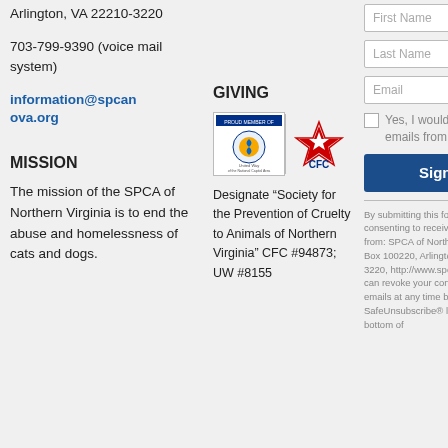Arlington, VA 22210-3220
703-799-9390 (voice mail system)
information@spcanova.org
MISSION
The mission of the SPCA of Northern Virginia is to end the abuse and homelessness of cats and dogs.
GIVING
[Figure (logo): Proud Member of United Way logo and CFC star logo side by side]
Designate “Society for the Prevention of Cruelty to Animals of Northern Virginia” CFC #94873; UW #8155
First Name
Last Name
Email
Yes, I would like to receive emails from SPCA NOVA.
Sign up
By submitting this form, you are consenting to receive marketing emails from: SPCA of Northern Virginia, P.O. Box 100220, Arlington, VA 22210-3220, http://www.spcanova.org. You can revoke your consent to receive emails at any time by using the SafeUnsubscribe® link, found at the bottom of